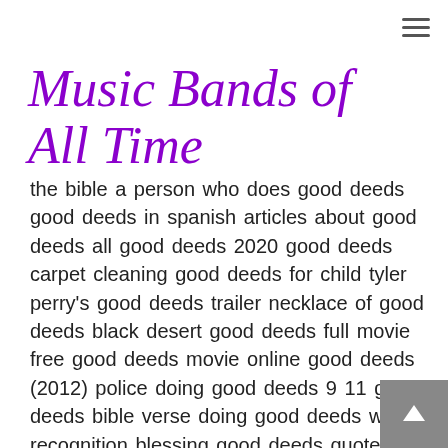Music Bands of All Time
the bible a person who does good deeds good deeds in spanish articles about good deeds all good deeds 2020 good deeds carpet cleaning good deeds for child tyler perry's good deeds trailer necklace of good deeds black desert good deeds full movie free good deeds movie online good deeds (2012) police doing good deeds 9 11 good deeds bible verse doing good deeds without recognition blessing good deeds quotes tyler perry movie good deeds soundtrack good deeds soundtrack see your good deeds do good deeds quotes ellen degeneres good deeds good deeds reviews good deeds movie soundtrack mr deeds looks good to me good deeds don't go unpunished someone who does good deeds no good deeds movies good deeds you can do example of good deeds our good deeds are as filthy rags watch tyler perry good deeds how to do good deeds good deeds scripture no good